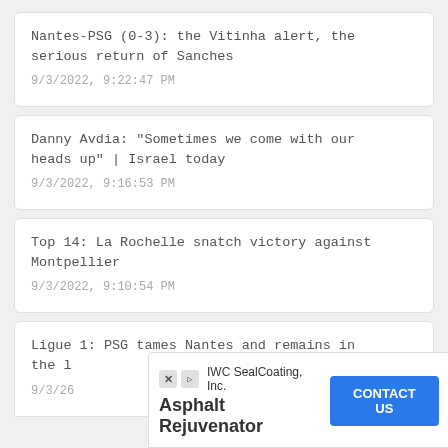Nantes-PSG (0-3): the Vitinha alert, the serious return of Sanches
9/3/2022, 9:22:47 PM
Danny Avdia: "Sometimes we come with our heads up" | Israel today
9/3/2022, 9:16:53 PM
Top 14: La Rochelle snatch victory against Montpellier
9/3/2022, 9:10:54 PM
Ligue 1: PSG tames Nantes and remains in the l…
9/3/26…
[Figure (screenshot): Advertisement overlay: IWC SealCoating, Inc. - Asphalt Rejuvenator with CONTACT US button and Close X button]